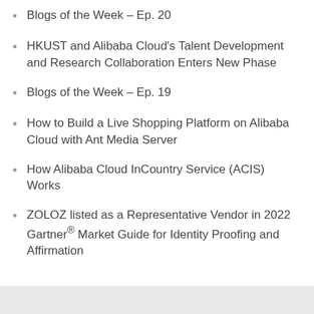Blogs of the Week – Ep. 20
HKUST and Alibaba Cloud's Talent Development and Research Collaboration Enters New Phase
Blogs of the Week – Ep. 19
How to Build a Live Shopping Platform on Alibaba Cloud with Ant Media Server
How Alibaba Cloud InCountry Service (ACIS) Works
ZOLOZ listed as a Representative Vendor in 2022 Gartner® Market Guide for Identity Proofing and Affirmation